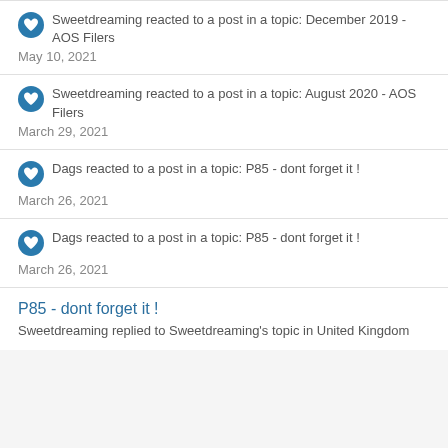Sweetdreaming reacted to a post in a topic: December 2019 - AOS Filers
May 10, 2021
Sweetdreaming reacted to a post in a topic: August 2020 - AOS Filers
March 29, 2021
Dags reacted to a post in a topic: P85 - dont forget it !
March 26, 2021
Dags reacted to a post in a topic: P85 - dont forget it !
March 26, 2021
P85 - dont forget it !
Sweetdreaming replied to Sweetdreaming's topic in United Kingdom